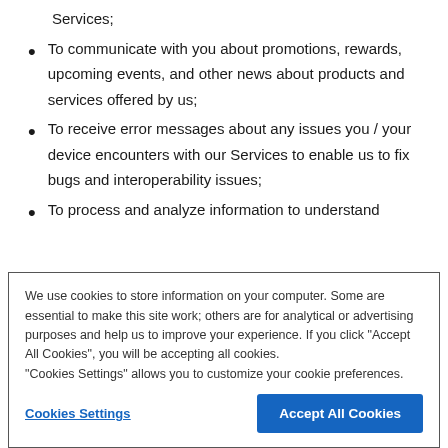Services;
To communicate with you about promotions, rewards, upcoming events, and other news about products and services offered by us;
To receive error messages about any issues you / your device encounters with our Services to enable us to fix bugs and interoperability issues;
To process and analyze information to understand
We use cookies to store information on your computer. Some are essential to make this site work; others are for analytical or advertising purposes and help us to improve your experience. If you click "Accept All Cookies", you will be accepting all cookies.
"Cookies Settings" allows you to customize your cookie preferences.
Cookies Settings
Accept All Cookies